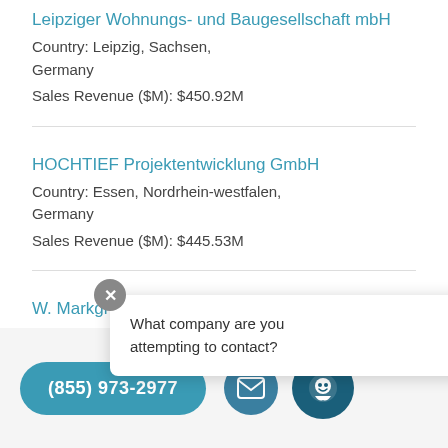Leipziger Wohnungs- und Baugesellschaft mbH
Country: Leipzig, Sachsen, Germany
Sales Revenue ($M): $450.92M
HOCHTIEF Projektentwicklung GmbH
Country: Essen, Nordrhein-westfalen, Germany
Sales Revenue ($M): $445.53M
W. Markgraf GmbH
Country: Bayreuth, Bayern, Germany
Sales Revenue ($M): …M
What company are you attempting to contact?
(855) 973-2977